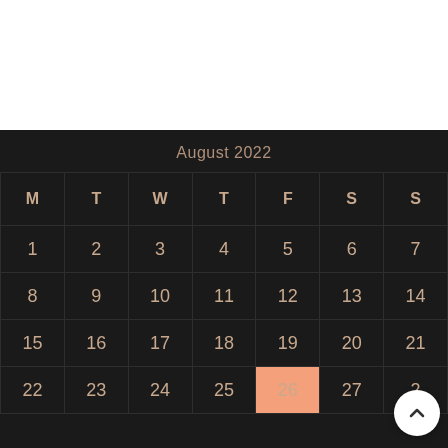[Figure (other): August 2022 calendar with dark background. Days M T W T F S S shown as headers. Dates 1-28 visible. August 26 (Friday) is highlighted in orange/salmon. A white circular scroll-up button is shown at bottom right. Top portion of page has white background.]